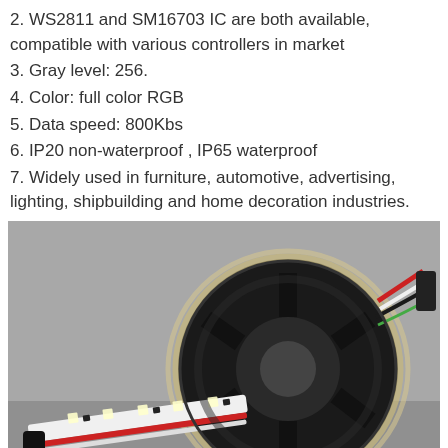2. WS2811 and SM16703 IC are both available, compatible with various controllers in market
3. Gray level: 256.
4. Color: full color RGB
5. Data speed: 800Kbs
6. IP20 non-waterproof , IP65 waterproof
7. Widely used in furniture, automotive, advertising, lighting, shipbuilding and home decoration industries.
[Figure (photo): A coiled LED strip (WS2811/SM16703) wound on a black spool reel, showing individual LED chips on a white/black PCB strip with red, white, and green wires, photographed on a gray background.]